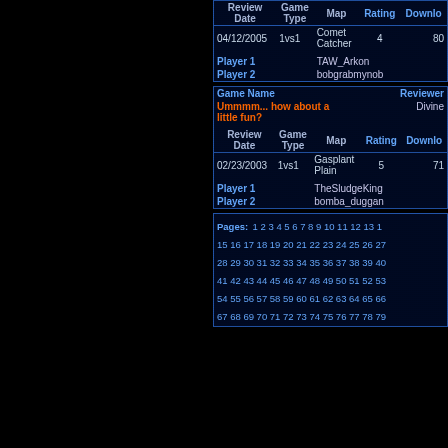| Review Date | Game Type | Map | Rating | Downloads |
| --- | --- | --- | --- | --- |
| 04/12/2005 | 1vs1 | Comet Catcher | 4 | 80 |
| Player 1 | TAW_Arkon |  |  |  |
| Player 2 | bobgrabmynob |  |  |  |
| Game Name | Reviewer |
| --- | --- |
| Ummmm... how about a little fun? | Divine |
| Review Date | Game Type | Map | Rating | Downloads |
| 02/23/2003 | 1vs1 | Gasplant Plain | 5 | 71 |
| Player 1 | TheSludgeKing |  |  |  |
| Player 2 | bomba_duggan |  |  |  |
Pages: 1 2 3 4 5 6 7 8 9 10 11 12 13 14 15 16 17 18 19 20 21 22 23 24 25 26 27 28 29 30 31 32 33 34 35 36 37 38 39 40 41 42 43 44 45 46 47 48 49 50 51 52 53 54 55 56 57 58 59 60 61 62 63 64 65 66 67 68 69 70 71 72 73 74 75 76 77 78 79